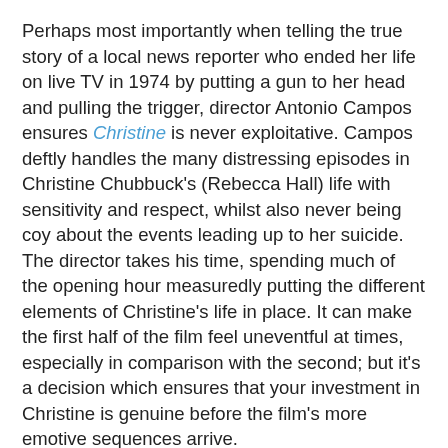Perhaps most importantly when telling the true story of a local news reporter who ended her life on live TV in 1974 by putting a gun to her head and pulling the trigger, director Antonio Campos ensures Christine is never exploitative. Campos deftly handles the many distressing episodes in Christine Chubbuck's (Rebecca Hall) life with sensitivity and respect, whilst also never being coy about the events leading up to her suicide. The director takes his time, spending much of the opening hour measuredly putting the different elements of Christine's life in place. It can make the first half of the film feel uneventful at times, especially in comparison with the second; but it's a decision which ensures that your investment in Christine is genuine before the film's more emotive sequences arrive.
That Campos continually resists both maudlin sympathy for his subject and feigning - or indeed forcing - understanding of why her life ended the way it did is key to Christine's sincerity as a biopic. A scene in which Christine is unexpectedly taken by a colleague to a self-help group provides the sole moment where she explicitly states the problems in her life, not to spell things out for the audience